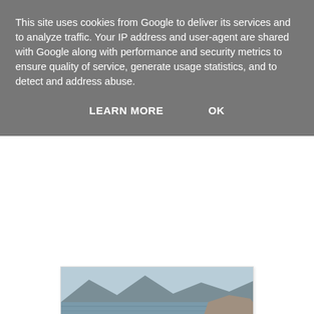This site uses cookies from Google to deliver its services and to analyze traffic. Your IP address and user-agent are shared with Google along with performance and security metrics to ensure quality of service, generate usage statistics, and to detect and address abuse.
LEARN MORE    OK
[Figure (photo): Landscape photo showing a rocky shoreline with mountains and a lake or fjord in the background on a clear day]
on a clear day...
[Figure (photo): Photo of a boat deck with scientific or research equipment including containers, crates, a life ring, and various instruments]